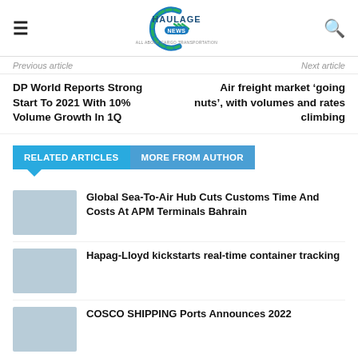Haulage News
Previous article
Next article
DP World Reports Strong Start To 2021 With 10% Volume Growth In 1Q
Air freight market ‘going nuts’, with volumes and rates climbing
RELATED ARTICLES   MORE FROM AUTHOR
Global Sea-To-Air Hub Cuts Customs Time And Costs At APM Terminals Bahrain
Hapag-Lloyd kickstarts real-time container tracking
COSCO SHIPPING Ports Announces 2022